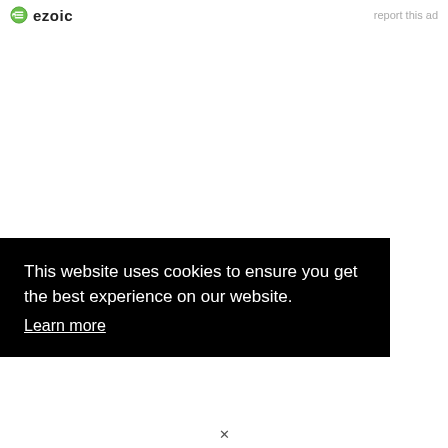ezoic   report this ad
This website uses cookies to ensure you get the best experience on our website.
Learn more